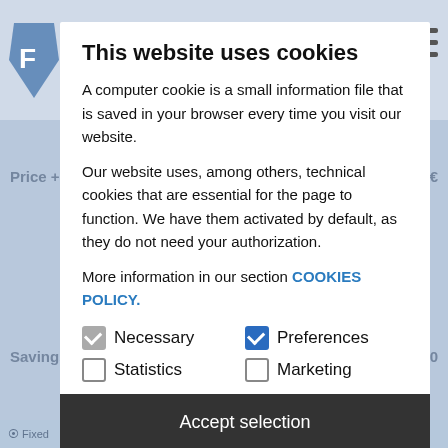This website uses cookies
A computer cookie is a small information file that is saved in your browser every time you visit our website.
Our website uses, among others, technical cookies that are essential for the page to function. We have them activated by default, as they do not need your authorization.
More information in our section COOKIES POLICY.
Necessary
Preferences
Statistics
Marketing